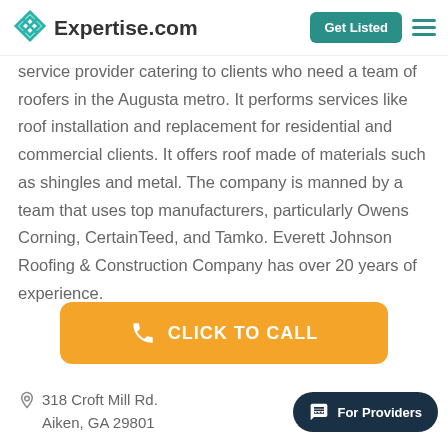Expertise.com | Get Listed
service provider catering to clients who need a team of roofers in the Augusta metro. It performs services like roof installation and replacement for residential and commercial clients. It offers roof made of materials such as shingles and metal. The company is manned by a team that uses top manufacturers, particularly Owens Corning, CertainTeed, and Tamko. Everett Johnson Roofing & Construction Company has over 20 years of experience.
[Figure (other): Orange 'CLICK TO CALL' button with phone icon]
318 Croft Mill Rd.
Aiken, GA 29801